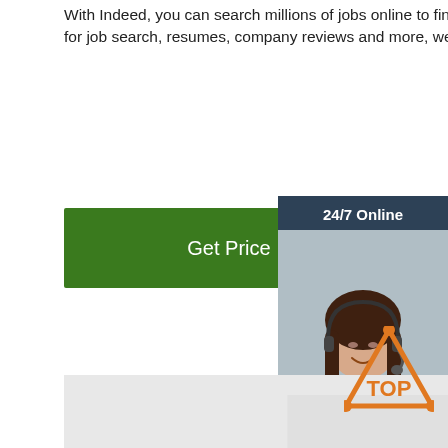With Indeed, you can search millions of jobs online to find the next step in your career. With tools for job search, resumes, company reviews and more, we're with you every step of the way.
[Figure (other): Green 'Get Price' button]
[Figure (other): Sidebar with '24/7 Online' header, woman with headset photo, 'Click here for free chat!' text, and orange QUOTATION button]
[Figure (photo): Product photo of a laboratory bottle containing orange liquid labeled 'Newborn Calf Serum (NBCS) Replacement']
[Figure (other): TOP badge icon — orange triangle with dots and the word TOP]